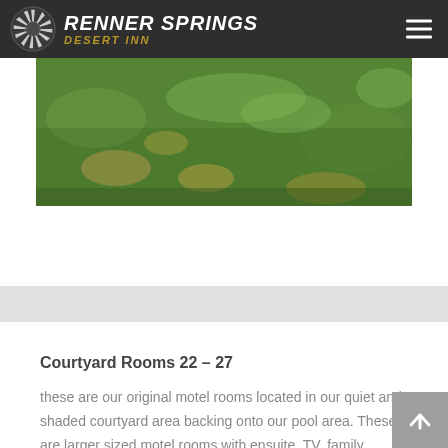RENNER SPRINGS DESERT INN
[Figure (photo): Aerial or ground-level photograph of a green grass lawn/courtyard area with some dry patches, associated with Renner Springs Desert Inn.]
Courtyard Rooms 22 – 27
these are our original motel rooms located in our quiet and shaded courtyard area backing onto our pool area. These are larger sized motel rooms with ensuite, TV, family adjoining rooms, air-conditioned and tea and coffee making